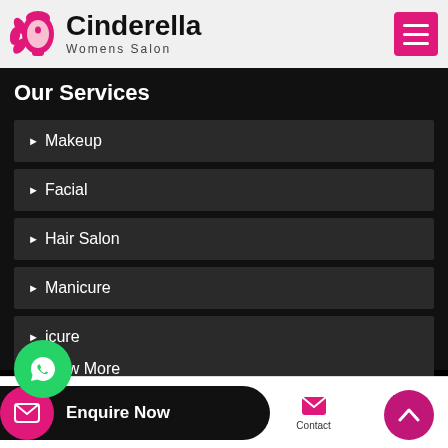[Figure (logo): Cinderella Womens Salon logo with pink flower/face icon and bold text]
Our Services
▶ Makeup
▶ Facial
▶ Hair Salon
▶ Manicure
▶ [Pedi]cure
▶ View More
Enquire Now
Home | About Us | Our Range | Contact | Call Us